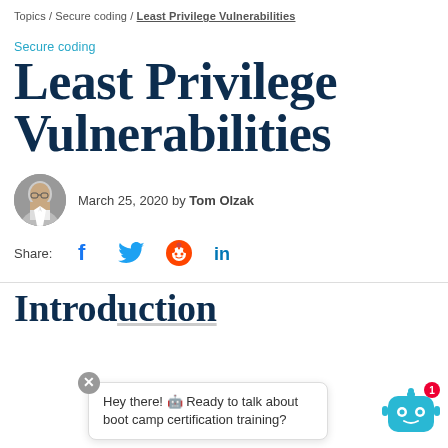Topics / Secure coding / Least Privilege Vulnerabilities
Secure coding
Least Privilege Vulnerabilities
March 25, 2020 by Tom Olzak
Share:
Introd...
Hey there! 🤖 Ready to talk about boot camp certification training?